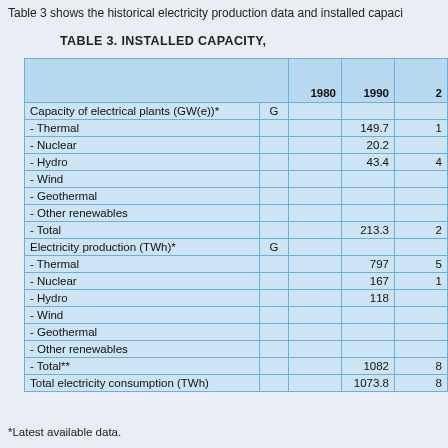Table 3 shows the historical electricity production data and installed capaci...
TABLE 3. INSTALLED CAPACITY,
|  | G | 1980 | 1990 | 2... |
| --- | --- | --- | --- | --- |
| Capacity of electrical plants (GW(e))* | G |  |  |  |
| - Thermal |  |  | 149.7 | 1 |
| - Nuclear |  |  | 20.2 |  |
| - Hydro |  |  | 43.4 | 4 |
| - Wind |  |  |  |  |
| - Geothermal |  |  |  |  |
| - Other renewables |  |  |  |  |
| - Total |  |  | 213.3 | 2 |
| Electricity production (TWh)* | G |  |  |  |
| - Thermal |  |  | 797 | 5 |
| - Nuclear |  |  | 167 | 1 |
| - Hydro |  |  | 118 |  |
| - Wind |  |  |  |  |
| - Geothermal |  |  |  |  |
| - Other renewables |  |  |  |  |
| - Total** |  |  | 1082 | 8 |
| Total electricity consumption (TWh) |  |  | 1073.8 | 8 |
*Latest available data.